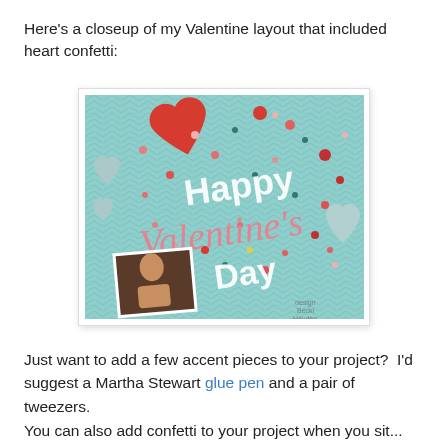Here's a closeup of my Valentine layout that included heart confetti:
[Figure (photo): Closeup of a Valentine's Day scrapbook layout with a teal/mint chevron background, heart confetti in red, pink, and other colors, heart embellishments, and large decorative text reading 'Happy Valentine's Day' in pink and white lettering, with a small photo in the lower left corner.]
Just want to add a few accent pieces to your project?  I'd suggest a Martha Stewart glue pen and a pair of tweezers.
You can also add confetti to your project when you sit...